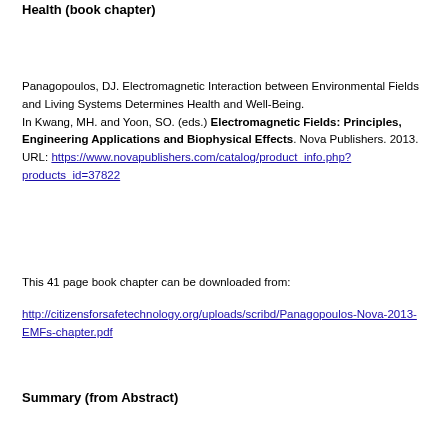Health (book chapter)
Panagopoulos, DJ. Electromagnetic Interaction between Environmental Fields and Living Systems Determines Health and Well-Being. In Kwang, MH. and Yoon, SO. (eds.) Electromagnetic Fields: Principles, Engineering Applications and Biophysical Effects. Nova Publishers. 2013.
URL: https://www.novapublishers.com/catalog/product_info.php?products_id=37822
This 41 page book chapter can be downloaded from:
http://citizensforsafetechnology.org/uploads/scribd/Panagopoulos-Nova-2013-EMFs-chapter.pdf
Summary (from Abstract)